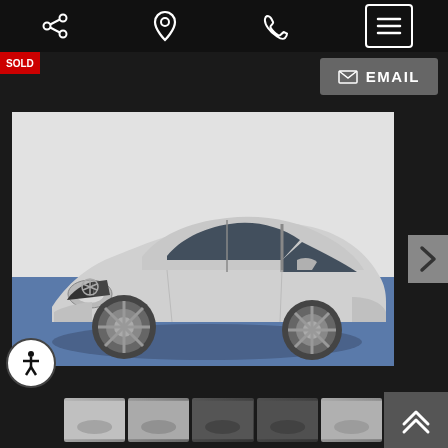[Figure (screenshot): Mobile car dealership website UI with top navigation bar (share, location, phone, menu icons), EMAIL button, main photo of a silver Mercedes-Benz C-Class sedan, next arrow, thumbnail strip at bottom, accessibility button, and scroll-up button]
EMAIL
[Figure (photo): Silver Mercedes-Benz C-Class sedan photographed at 3/4 front angle on blue floor with white background]
[Figure (photo): Thumbnail strip showing multiple car photos]